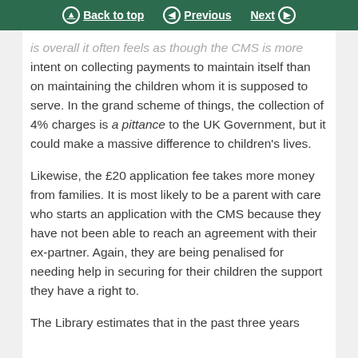Back to top | Previous | Next
is overall it often feels as though the CMS is more intent on collecting payments to maintain itself than on maintaining the children whom it is supposed to serve. In the grand scheme of things, the collection of 4% charges is a pittance to the UK Government, but it could make a massive difference to children's lives.
Likewise, the £20 application fee takes more money from families. It is most likely to be a parent with care who starts an application with the CMS because they have not been able to reach an agreement with their ex-partner. Again, they are being penalised for needing help in securing for their children the support they have a right to.
The Library estimates that in the past three years